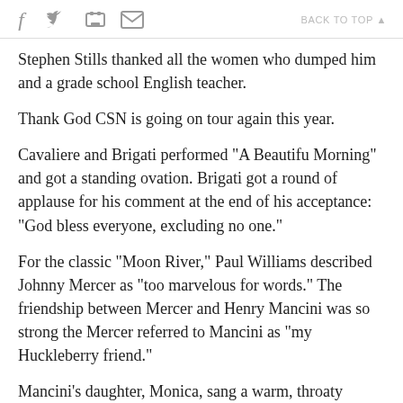f [twitter] [print] [email]   BACK TO TOP ▲
Stephen Stills thanked all the women who dumped him and a grade school English teacher.
Thank God CSN is going on tour again this year.
Cavaliere and Brigati performed "A Beautifu Morning" and got a standing ovation. Brigati got a round of applause for his comment at the end of his acceptance: "God bless everyone, excluding no one."
For the classic "Moon River," Paul Williams described Johnny Mercer as "too marvelous for words." The friendship between Mercer and Henry Mancini was so strong the Mercer referred to Mancini as "my Huckleberry friend."
Mancini's daughter, Monica, sang a warm, throaty Moon River and Andy Williams came onto the stage for his version of the iconic song. He brought the